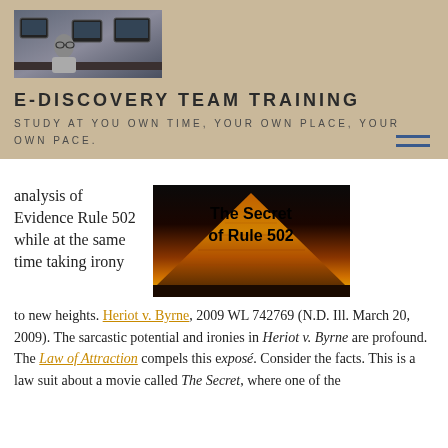[Figure (photo): Photo of a man sitting at a desk with computer monitors in the background, part of E-Discovery Team Training website header]
E-DISCOVERY TEAM TRAINING
STUDY AT YOU OWN TIME, YOUR OWN PLACE, YOUR OWN PACE.
[Figure (photo): Pyramid image with text overlay reading 'The Secret of Rule 502']
analysis of Evidence Rule 502 while at the same time taking irony to new heights. Heriot v. Byrne, 2009 WL 742769 (N.D. Ill. March 20, 2009). The sarcastic potential and ironies in Heriot v. Byrne are profound. The Law of Attraction compels this exposé. Consider the facts. This is a law suit about a movie called The Secret, where one of the